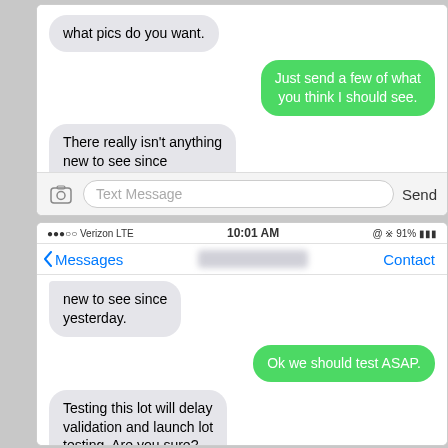[Figure (screenshot): Top screenshot: iOS iMessage conversation. Gray bubble on left: 'what pics do you want.' Green bubble on right: 'Just send a few of what you think I should see.' Gray bubble on left: 'There really isn't anything new to see since yesterday.' Input bar with camera icon, 'Text Message' placeholder, and 'Send' button.]
[Figure (screenshot): Bottom screenshot: iOS iMessage conversation with status bar showing '...00 Verizon LTE 10:01 AM @ * 91%' and nav bar showing '< Messages [blurred name] Contact'. Gray bubble (continuation): 'new to see since yesterday.' Green bubble: 'Ok we should test ASAP.' Gray bubble: 'Testing this lot will delay validation and launch lot testing. Are you sure?' Partial green bubble at bottom: 'Ok hold off for now. When']